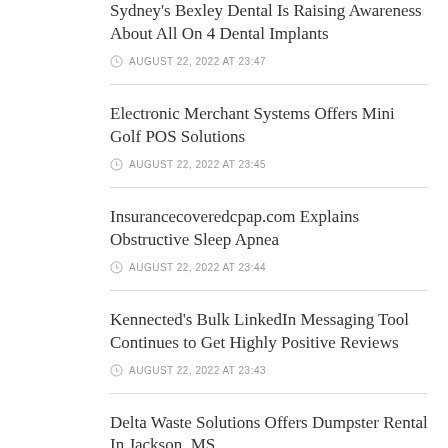Sydney's Bexley Dental Is Raising Awareness About All On 4 Dental Implants
AUGUST 22, 2022 AT 23:47
Electronic Merchant Systems Offers Mini Golf POS Solutions
AUGUST 22, 2022 AT 23:45
Insurancecoveredcpap.com Explains Obstructive Sleep Apnea
AUGUST 22, 2022 AT 23:44
Kennected's Bulk LinkedIn Messaging Tool Continues to Get Highly Positive Reviews
AUGUST 22, 2022 AT 23:43
Delta Waste Solutions Offers Dumpster Rental In Jackson, MS
AUGUST 22, 2022 AT 23:43